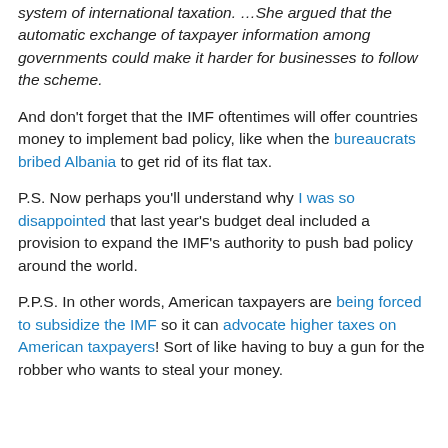system of international taxation. …She argued that the automatic exchange of taxpayer information among governments could make it harder for businesses to follow the scheme.
And don't forget that the IMF oftentimes will offer countries money to implement bad policy, like when the bureaucrats bribed Albania to get rid of its flat tax.
P.S. Now perhaps you'll understand why I was so disappointed that last year's budget deal included a provision to expand the IMF's authority to push bad policy around the world.
P.P.S. In other words, American taxpayers are being forced to subsidize the IMF so it can advocate higher taxes on American taxpayers! Sort of like having to buy a gun for the robber who wants to steal your money.